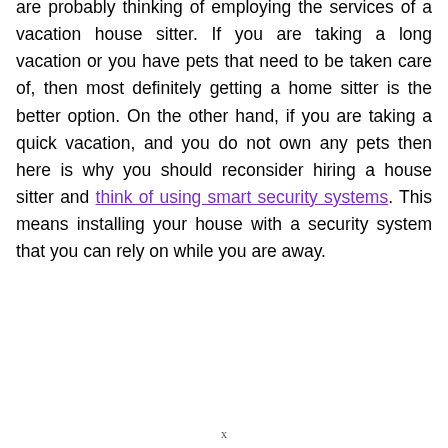are probably thinking of employing the services of a vacation house sitter. If you are taking a long vacation or you have pets that need to be taken care of, then most definitely getting a home sitter is the better option. On the other hand, if you are taking a quick vacation, and you do not own any pets then here is why you should reconsider hiring a house sitter and think of using smart security systems. This means installing your house with a security system that you can rely on while you are away.
x